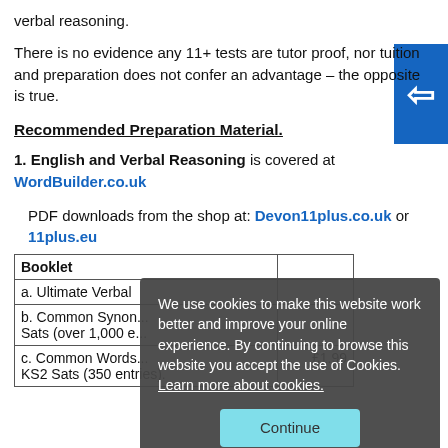verbal reasoning.
There is no evidence any 11+ tests are tutor proof, nor tuition and preparation does not confer an advantage – the opposite is true.
Recommended Preparation Material.
1. English and Verbal Reasoning is covered at WordBuilder.co.uk
PDF downloads from the shop at: Devon11plus.co.uk or 11plus.eu
| Booklet |  |
| --- | --- |
| a. Ultimate Verbal ... |  |
| b. Common Synonyms ... Sats (over 1,000 e... |  |
| c. Common Words... KS2 Sats (350 entries). | £1.99 |